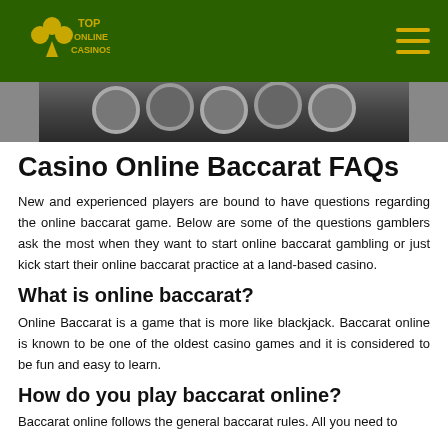Top Online Casinos
[Figure (photo): Greyscale photo showing casino chips stacked, visible from the bottom portion of the image.]
Casino Online Baccarat FAQs
New and experienced players are bound to have questions regarding the online baccarat game. Below are some of the questions gamblers ask the most when they want to start online baccarat gambling or just kick start their online baccarat practice at a land-based casino.
What is online baccarat?
Online Baccarat is a game that is more like blackjack. Baccarat online is known to be one of the oldest casino games and it is considered to be fun and easy to learn.
How do you play baccarat online?
Baccarat online follows the general baccarat rules. All you need to